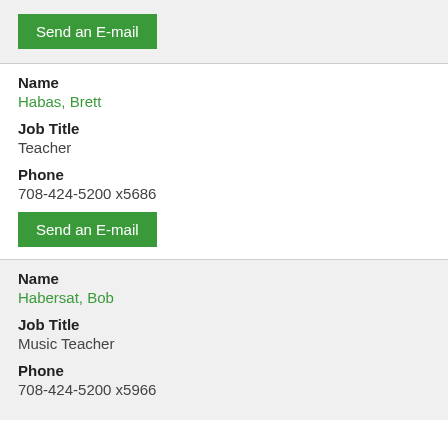[Figure (other): Green 'Send an E-mail' button in gray header bar]
Name
Habas, Brett
Job Title
Teacher
Phone
708-424-5200 x5686
[Figure (other): Green 'Send an E-mail' button]
Name
Habersat, Bob
Job Title
Music Teacher
Phone
708-424-5200 x5966